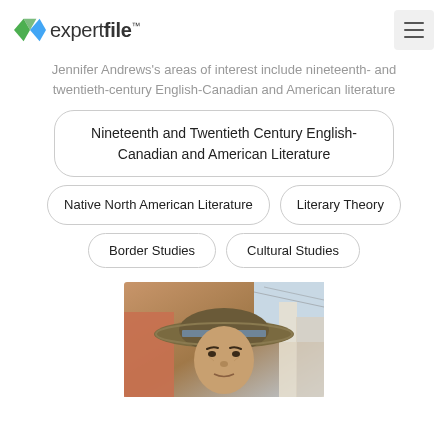expertfile
Jennifer Andrews's areas of interest include nineteenth- and twentieth-century English-Canadian and American literature
Nineteenth and Twentieth Century English-Canadian and American Literature
Native North American Literature
Literary Theory
Border Studies
Cultural Studies
[Figure (photo): Profile photo of a person wearing a wide-brimmed straw hat, outdoors in an urban setting]